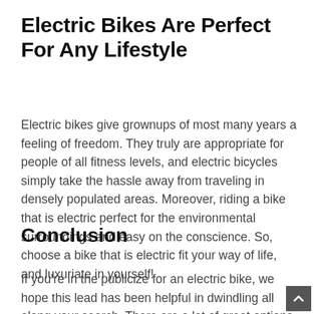Electric Bikes Are Perfect For Any Lifestyle
Electric bikes give grownups of most many years a feeling of freedom. They truly are appropriate for people of all fitness levels, and electric bicycles simply take the hassle away from traveling in densely populated areas. Moreover, riding a bike that is electric perfect for the environmental surroundings and easy on the conscience. So, choose a bike that is electric fit your way of life, and luxuriate in yourself!
Conclusion
If you're in the publicize for an electric bike, we hope this lead has been helpful in dwindling all along your search. There are a lot of great options out there, and it can be